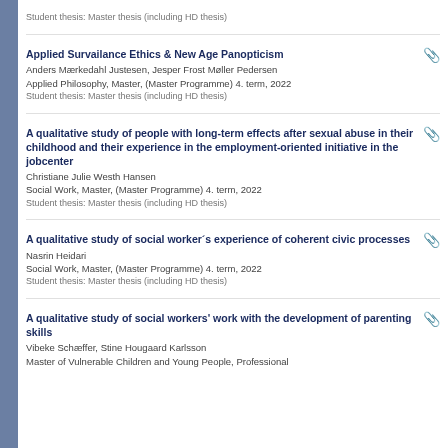Student thesis: Master thesis (including HD thesis)
Applied Survailance Ethics & New Age Panopticism
Anders Mærkedahl Justesen, Jesper Frost Møller Pedersen
Applied Philosophy, Master, (Master Programme) 4. term, 2022
Student thesis: Master thesis (including HD thesis)
A qualitative study of people with long-term effects after sexual abuse in their childhood and their experience in the employment-oriented initiative in the jobcenter
Christiane Julie Westh Hansen
Social Work, Master, (Master Programme) 4. term, 2022
Student thesis: Master thesis (including HD thesis)
A qualitative study of social worker´s experience of coherent civic processes
Nasrin Heidari
Social Work, Master, (Master Programme) 4. term, 2022
Student thesis: Master thesis (including HD thesis)
A qualitative study of social workers' work with the development of parenting skills
Vibeke Schæffer, Stine Hougaard Karlsson
Master of Vulnerable Children and Young People, Professional